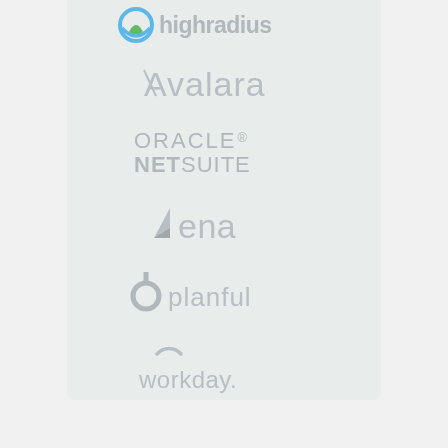[Figure (logo): HighRadius logo (partially visible at top) with blue and green icon]
[Figure (logo): Avalara logo in gray]
[Figure (logo): Oracle NetSuite logo in gray]
[Figure (logo): Vena logo in gray with triangle icon]
[Figure (logo): Planful logo in gray with p icon]
[Figure (logo): Workday logo in gray with arc icon]